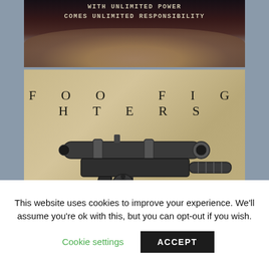[Figure (illustration): Dark horror-style image with text overlay reading 'WITH UNLIMITED POWER COMES UNLIMITED RESPONSIBILITY' over a dark bloody and monstrous face.]
[Figure (photo): Foo Fighters album/poster image showing a scoped pistol (Han Solo DL-44 style blaster) on a sandy/beige background with the text 'FOO FIGHTERS' in spaced serif letters across the top.]
This website uses cookies to improve your experience. We'll assume you're ok with this, but you can opt-out if you wish.
Cookie settings   ACCEPT